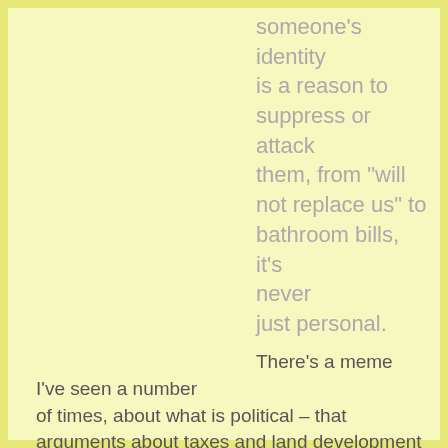someone's identity is a reason to suppress or attack them, from "will not replace us" to bathroom bills, it's never just personal.
There's a meme I've seen a number of times, about what is political – that arguments about taxes and land development and budgets are, but arguments about whether someone should be allowed to live are not. I want to agree with that, but, in the real world, arguments about people's lives and existence are aligned with partisan politics. The people trying to de-humanize huge swaths of humanity know what they're doing, and aren't going to stop because the other side makes clever memes.